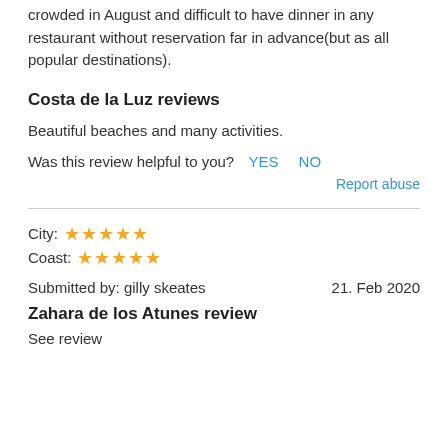crowded in August and difficult to have dinner in any restaurant without reservation far in advance(but as all popular destinations).
Costa de la Luz reviews
Beautiful beaches and many activities.
Was this review helpful to you?  YES  NO
Report abuse
City: ★★★★★
Coast: ★★★★★
Submitted by: gilly skeates    21. Feb 2020
Zahara de los Atunes review
See review